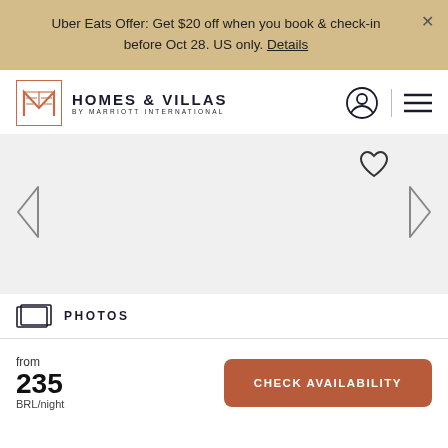Uber Eats Offer: Get $20 off when you book & check-in before Oct 28. US only. Details
[Figure (logo): Homes & Villas by Marriott International logo with stylized M icon in salmon/orange color]
[Figure (screenshot): Property photo carousel area showing white/blank image with heart icon and left/right navigation arrows]
PHOTOS
from 235 BRL/night
CHECK AVAILABILITY